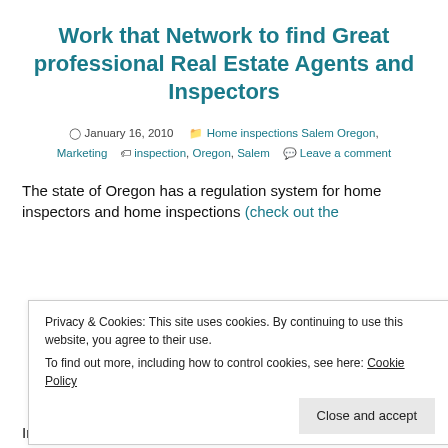Work that Network to find Great professional Real Estate Agents and Inspectors
January 16, 2010   Home inspections Salem Oregon, Marketing   inspection, Oregon, Salem   Leave a comment
The state of Oregon has a regulation system for home inspectors and home inspections (check out the
Privacy & Cookies: This site uses cookies. By continuing to use this website, you agree to their use. To find out more, including how to control cookies, see here: Cookie Policy
Close and accept
In some states it is still possible to hire a home